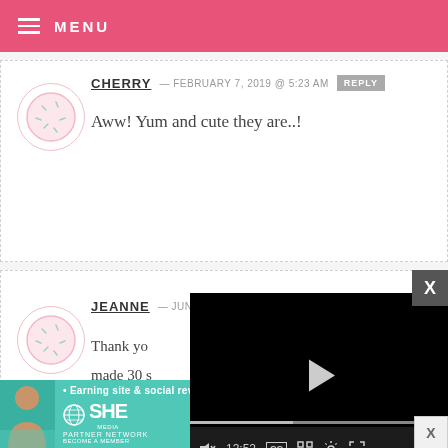MENU
CHERRY — FEBRUARY 7, 2019 @ 5:23 AM  REPLY
Aww! Yum and cute they are..!
JEANNE — JUNE 25, 2018 @ 2:12 PM  REPLY
Thank yo... made 30 s... carrot cu... very perf...
[Figure (screenshot): Video player overlay with play button, progress bar showing 13:52, and controls including mute, CC, grid, settings, and fullscreen.]
[Figure (infographic): SHE Partner Network advertisement banner: Earning site & social revenue, LEARN MORE button]